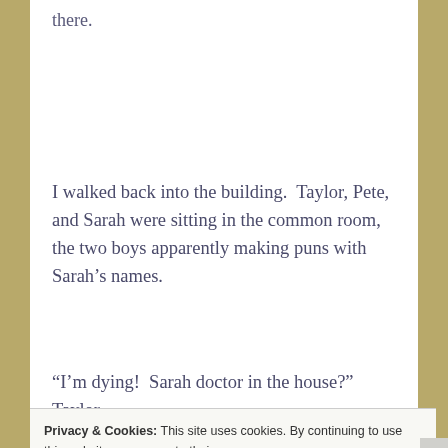there.
I walked back into the building.  Taylor, Pete, and Sarah were sitting in the common room, the two boys apparently making puns with Sarah’s names.
“I’m dying!  Sarah doctor in the house?” Taylor
Privacy & Cookies: This site uses cookies. By continuing to use this website, you agree to their use.
To find out more, including how to control cookies, see here:
Cookie Policy
Close and accept